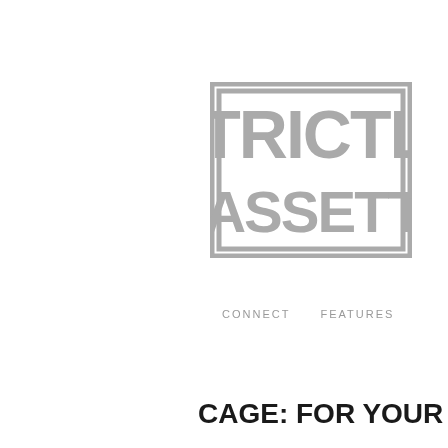[Figure (logo): Strictly Cassette logo: large bold gray text reading STRICTLY CASSETTE stacked on two lines, inside a gray rectangular border on white background]
CONNECT    FEATURES
CAGE: FOR YOUR BOX